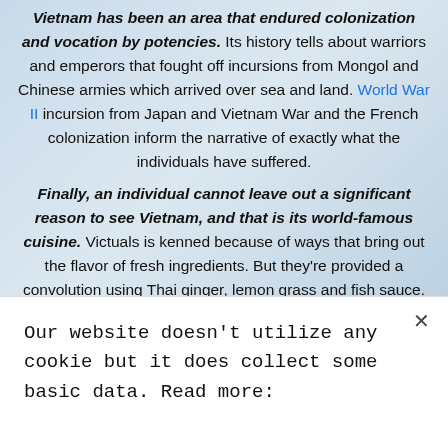Vietnam has been an area that endured colonization and vocation by potencies. Its history tells about warriors and emperors that fought off incursions from Mongol and Chinese armies which arrived over sea and land. World War II incursion from Japan and Vietnam War and the French colonization inform the narrative of exactly what the individuals have suffered.
Finally, an individual cannot leave out a significant reason to see Vietnam, and that is its world-famous cuisine. Victuals is kenned because of ways that bring out the flavor of fresh ingredients. But they're provided a convolution using Thai ginger, lemon grass and fish sauce. And Vietnamese were also given their kinds of curry by trading with India. Colonization by the French subsequently introduced French-
Our website doesn't utilize any cookie but it does collect some basic data. Read more: